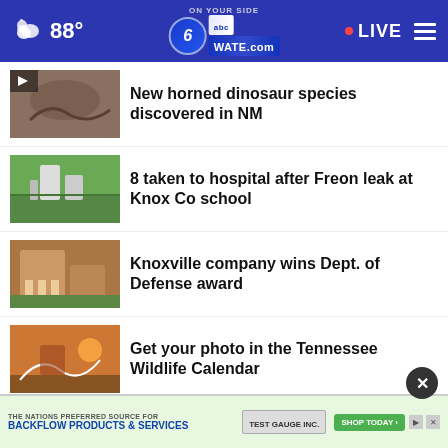88° WATE.com LIVE
New horned dinosaur species discovered in NM
8 taken to hospital after Freon leak at Knox Co school
Knoxville company wins Dept. of Defense award
Get your photo in the Tennessee Wildlife Calendar
Still paying student loans? New option for payback
[Figure (screenshot): Advertisement banner: THE NATIONS PREFERRED SOURCE FOR BACKFLOW PRODUCTS & SERVICES — TEST GAUGE INC. SHOP TODAY]
student loan relief